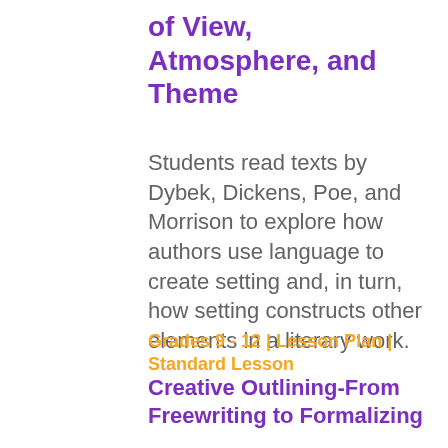of View, Atmosphere, and Theme
Students read texts by Dybek, Dickens, Poe, and Morrison to explore how authors use language to create setting and, in turn, how setting constructs other elements in a literary work.
Grades 9 - 12 | Lesson Plan | Standard Lesson
Creative Outlining-From Freewriting to Formalizing